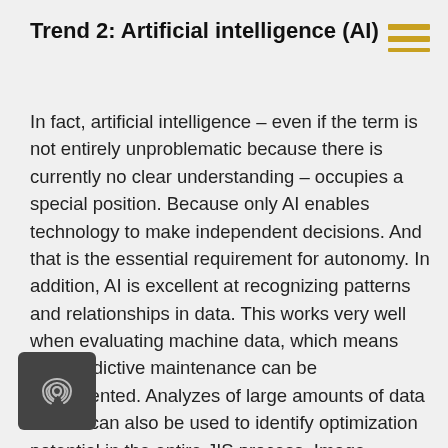Trend 2: Artificial intelligence (AI)
In fact, artificial intelligence – even if the term is not entirely unproblematic because there is currently no clear understanding – occupies a special position. Because only AI enables technology to make independent decisions. And that is the essential requirement for autonomy. In addition, AI is excellent at recognizing patterns and relationships in data. This works very well when evaluating machine data, which means that predictive maintenance can be implemented. Analyzes of large amounts of data with AI can also be used to identify optimization potential in the entire JIS process. Image recognition through AI is not yet fully developed. However, it is already sufficient today to fully automatically